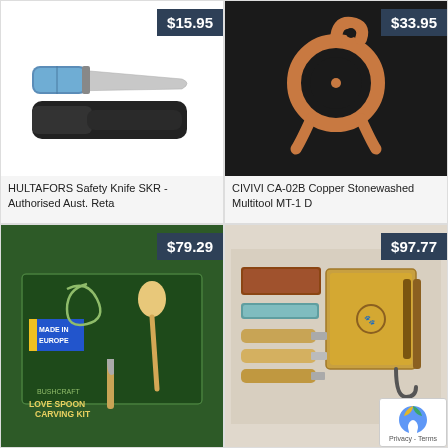[Figure (photo): HULTAFORS Safety Knife SKR with blue handle and black sheath, price badge $15.95]
HULTAFORS Safety Knife SKR - Authorised Aust. Reta
[Figure (photo): CIVIVI CA-02B Copper Stonewashed Multitool MT-1 D on dark background, price badge $33.95]
CIVIVI CA-02B Copper Stonewashed Multitool MT-1 D
[Figure (photo): Love Spoon Carving Kit box with Made in Europe label, price badge $79.29]
[Figure (photo): Wood carving kit with tools and bamboo box, price badge $97.77]